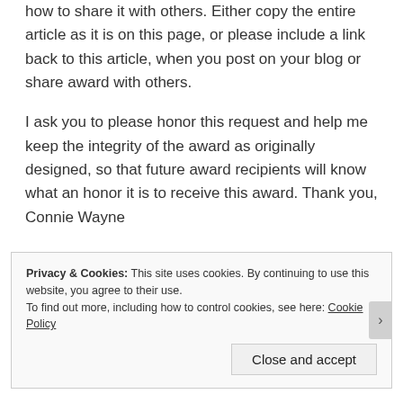how to share it with others. Either copy the entire article as it is on this page, or please include a link back to this article, when you post on your blog or share award with others.
I ask you to please honor this request and help me keep the integrity of the award as originally designed, so that future award recipients will know what an honor it is to receive this award. Thank you, Connie Wayne
Privacy & Cookies: This site uses cookies. By continuing to use this website, you agree to their use.
To find out more, including how to control cookies, see here: Cookie Policy
Close and accept